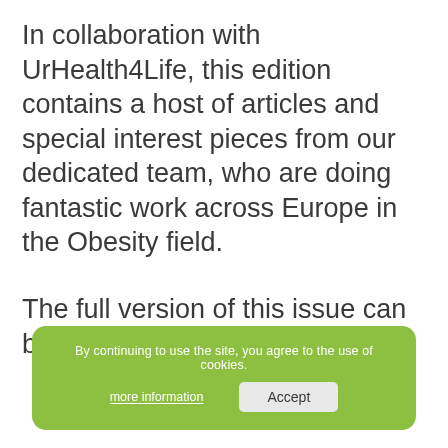In collaboration with UrHealth4Life, this edition contains a host of articles and special interest pieces from our dedicated team, who are doing fantastic work across Europe in the Obesity field.
The full version of this issue can be viewed here
By continuing to use the site, you agree to the use of cookies. more information  Accept